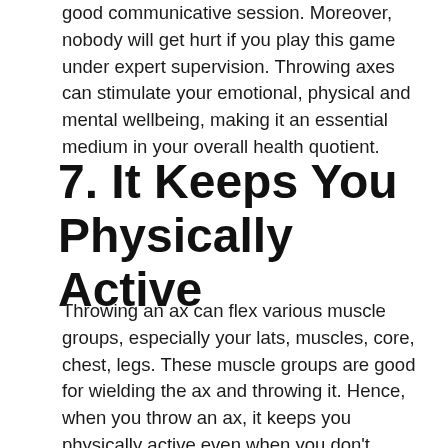good communicative session. Moreover, nobody will get hurt if you play this game under expert supervision. Throwing axes can stimulate your emotional, physical and mental wellbeing, making it an essential medium in your overall health quotient.
7. It Keeps You Physically Active
Throwing an ax can flex various muscle groups, especially your lats, muscles, core, chest, legs. These muscle groups are good for wielding the ax and throwing it. Hence, when you throw an ax, it keeps you physically active even when you don't exercise. On top of that, throwing an ax is not a tiring activity, which makes it even more effective for lazy people to perform. Once you make it a habit, you will enjoy it a lot more than you used to